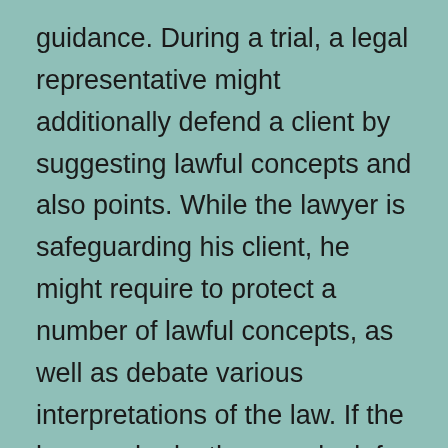guidance. During a trial, a legal representative might additionally defend a client by suggesting lawful concepts and also points. While the lawyer is safeguarding his client, he might require to protect a number of lawful concepts, as well as debate various interpretations of the law. If the lawyer sheds, they can look for a brand-new test or other remedy for the appellate court.
Wages for attorneys can vary significantly, depending on where they work. In private method, several attorneys bill their clients for hundreds of bucks per hour. In addition